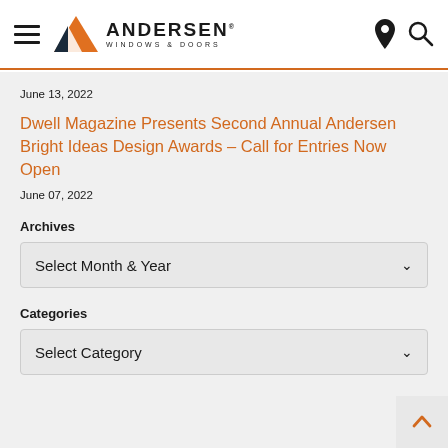Andersen Windows & Doors navigation header
June 13, 2022
Dwell Magazine Presents Second Annual Andersen Bright Ideas Design Awards – Call for Entries Now Open
June 07, 2022
Archives
Select Month & Year
Categories
Select Category